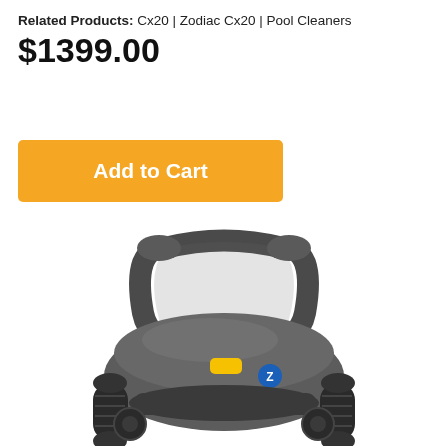Related Products: Cx20 | Zodiac Cx20 | Pool Cleaners
$1399.00
[Figure (other): Orange 'Add to Cart' button]
[Figure (photo): Zodiac Cx20 robotic pool cleaner with dark grey body, carry handle, tank tracks, and yellow button with Zodiac Z logo badge, viewed from above-front angle on white background]